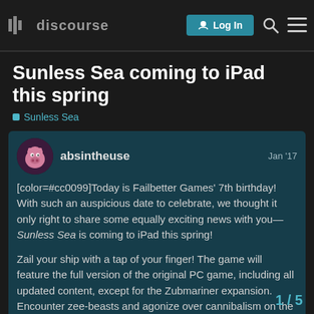Log In
Sunless Sea coming to iPad this spring
Sunless Sea
absintheuse   Jan '17
[color=#cc0099]Today is Failbetter Games' 7th birthday! With such an auspicious date to celebrate, we thought it only right to share some equally exciting news with you—Sunless Sea is coming to iPad this spring!
Zail your ship with a tap of your finger! The game will feature the full version of the original PC game, including all updated content, except for the Zubmariner expansion. Encounter zee-beasts and agonize over cannibalism on the go!
We've teamed up with BlitWorks (known fo Invisible Inc., Don't Starve, Broken Age an
1 / 5